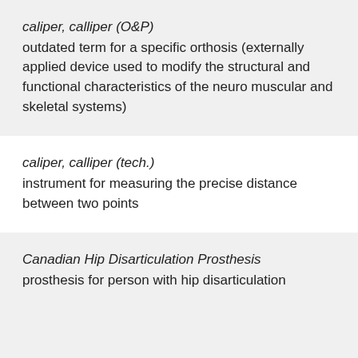caliper, calliper (O&P)
outdated term for a specific orthosis (externally applied device used to modify the structural and functional characteristics of the neuro muscular and skeletal systems)
caliper, calliper (tech.)
instrument for measuring the precise distance between two points
Canadian Hip Disarticulation Prosthesis
prosthesis for person with hip disarticulation